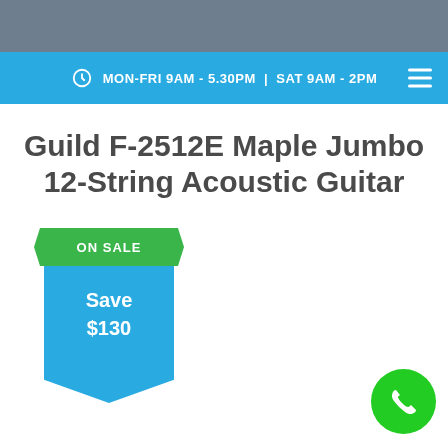MON-FRI 9AM - 5.30PM | SAT 9AM - 2PM
Guild F-2512E Maple Jumbo 12-String Acoustic Guitar
[Figure (infographic): Sale badge with green 'ON SALE' banner and blue ribbon showing 'Save $130']
[Figure (illustration): Green circular phone/call button in bottom right corner]